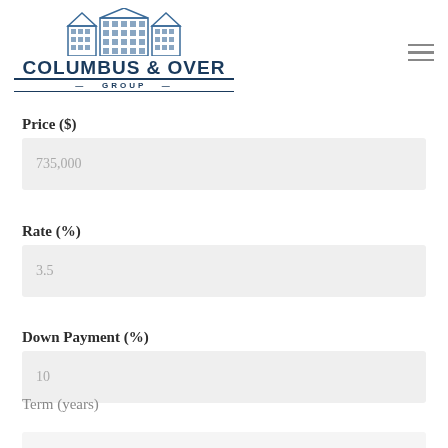[Figure (logo): Columbus & Over Group logo with building illustration and company name]
Price ($)
735,000
Rate (%)
3.5
Down Payment (%)
10
Term (years)